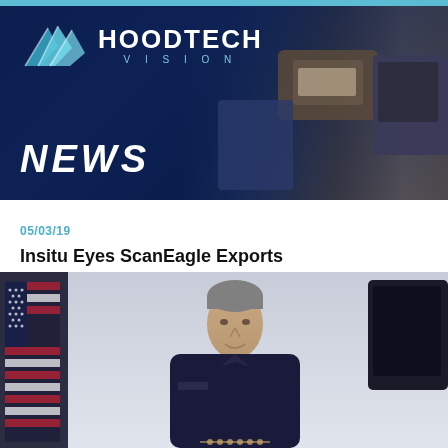[Figure (logo): HoodTech Vision logo with mountain/chevron graphic and company name]
NEWS
05/03/19
Insitu Eyes ScanEagle Exports
[Figure (photo): Photo of a military officer in uniform smiling, with an American flag to the left and dark equipment panel to the right, against a light grey background]